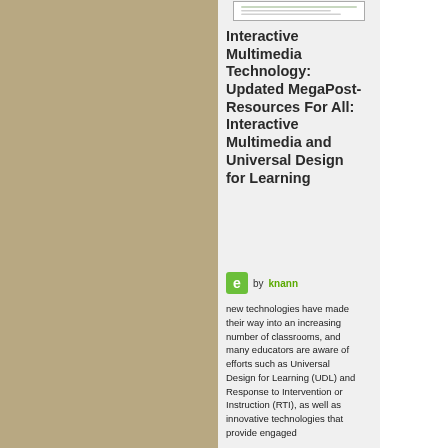[Figure (screenshot): Small thumbnail preview of a webpage or document]
Interactive Multimedia Technology: Updated MegaPost-Resources For All: Interactive Multimedia and Universal Design for Learning
by knann
new technologies have made their way into an increasing number of classrooms, and many educators are aware of efforts such as Universal Design for Learning (UDL) and Response to Intervention or Instruction (RTI), as well as innovative technologies that provide engaged